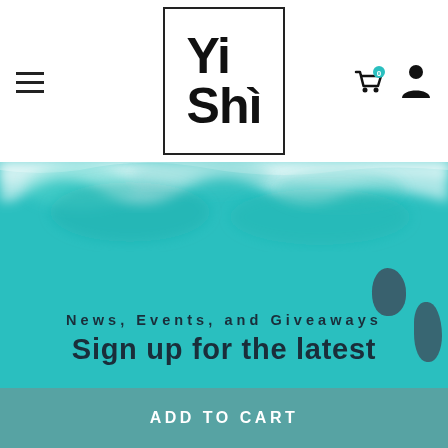Yi Shi — navigation header with logo, hamburger menu, cart icon (0), and user icon
[Figure (illustration): Teal watercolor wash background with dark ink blob shapes, overlaid with text: 'News, Events, and Giveaways' and 'Sign up for the latest']
News, Events, and Giveaways
Sign up for the latest
ADD TO CART